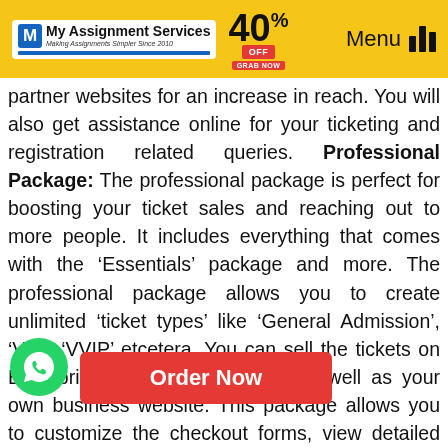My Assignment Services — 40% OFF — Menu
partner websites for an increase in reach. You will also get assistance online for your ticketing and registration related queries. Professional Package: The professional package is perfect for boosting your ticket sales and reaching out to more people. It includes everything that comes with the ‘Essentials’ package and more. The professional package allows you to create unlimited ‘ticket types’ like ‘General Admission’, ‘VIP’, ‘VVIP’ etcetera. You can sell the tickets on Eventbrite and partner website as well as your own business website. This package allows you to customize the checkout forms, view detailed sales analysis, payouts before the event, reserved seating and support via phone and E-mail. Premium Package: Premium is for those looking to organise large and complex events. It includes all